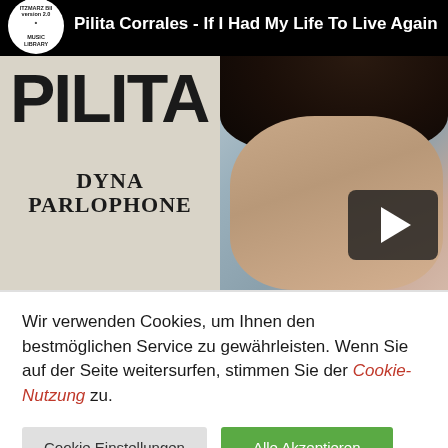[Figure (screenshot): YouTube-style video thumbnail showing a music video: 'Pilita Corrales - If I Had My Life To Live Again'. Top bar has channel logo (ITZMARZ BII version 2.0 MUSIC LIBRARY) and video title on black background. Album cover visible below showing 'PILITA' in large letters, 'DYNA PARLOPHONE' label text, and a portrait photo of a woman with dark hair. A play button overlay (dark rounded rectangle with white triangle) appears over the portrait.]
Wir verwenden Cookies, um Ihnen den bestmöglichen Service zu gewährleisten. Wenn Sie auf der Seite weitersurfen, stimmen Sie der Cookie-Nutzung zu.
Cookie Einstellungen
Alle Akzeptieren